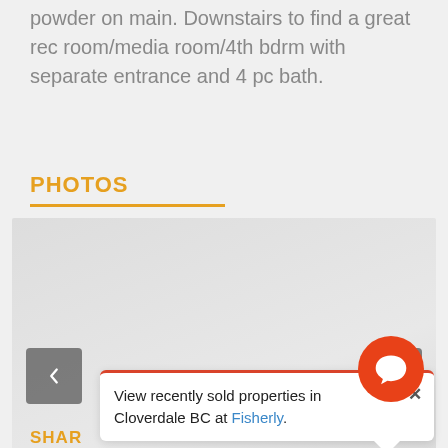powder on main. Downstairs to find a great rec room/media room/4th bdrm with separate entrance and 4 pc bath.
PHOTOS
[Figure (photo): Photo carousel area with navigation arrows (left and right), light gray placeholder background]
View recently sold properties in Cloverdale BC at Fisherly.